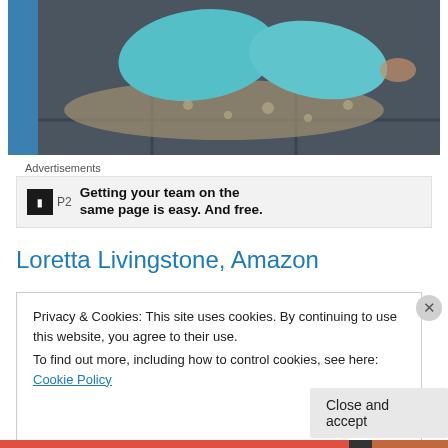[Figure (photo): Photo of teal/turquoise towels on a dark tiled floor, partial view of bathroom]
Advertisements
[Figure (screenshot): Advertisement banner: P2 logo - Getting your team on the same page is easy. And free.]
Loretta Livingstone, Amazon
Privacy & Cookies: This site uses cookies. By continuing to use this website, you agree to their use.
To find out more, including how to control cookies, see here: Cookie Policy
Close and accept